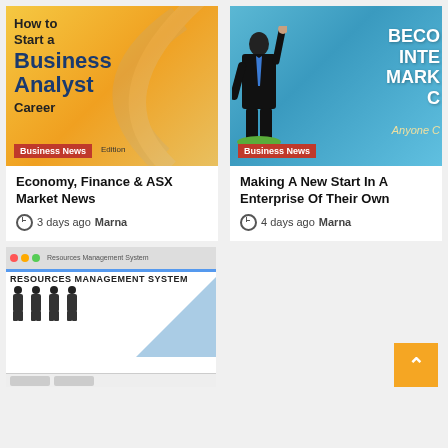[Figure (illustration): Book cover for 'How to Start a Business Analyst Career' with orange/yellow gradient background and dark blue bold text, with a 'Business News Edition' badge at the bottom left.]
[Figure (illustration): Promotional banner for 'Become Internet Marketer' course with blue background, a businessman figure raising his hand, and 'Business News' badge.]
Economy, Finance & ASX Market News
3 days ago  Marna
Making A New Start In A Enterprise Of Their Own
4 days ago  Marna
[Figure (screenshot): Screenshot of a Resources Management System software with silhouettes of people and company details section visible.]
[Figure (other): Orange back-to-top button with upward arrow chevron.]